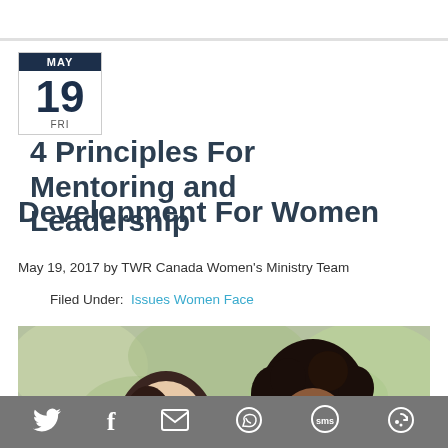4 Principles For Mentoring and Leadership Development For Women
May 19, 2017 by TWR Canada Women's Ministry Team
Filed Under: Issues Women Face
[Figure (photo): Two women looking down together outdoors, one with straight dark hair, one with curly dark hair]
Social share bar with Twitter, Facebook, email, WhatsApp, SMS, and share icons